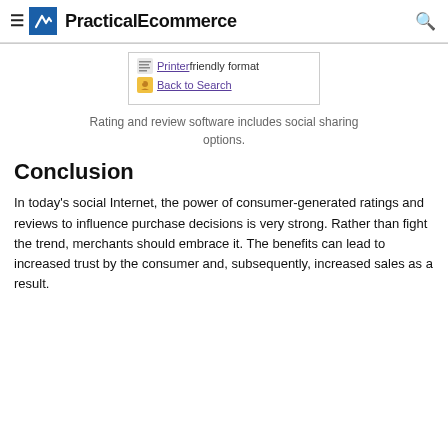PracticalEcommerce
Rating and review software includes social sharing options.
Conclusion
In today’s social Internet, the power of consumer-generated ratings and reviews to influence purchase decisions is very strong. Rather than fight the trend, merchants should embrace it. The benefits can lead to increased trust by the consumer and, subsequently, increased sales as a result.